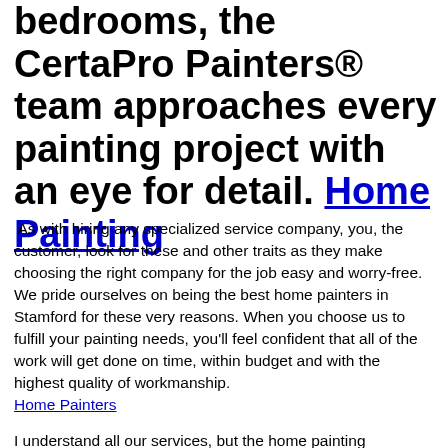bedrooms, the CertaPro Painters® team approaches every painting project with an eye for detail. Home Painting
As with hiring any specialized service company, you, the customer, look for these and other traits as they make choosing the right company for the job easy and worry-free. We pride ourselves on being the best home painters in Stamford for these very reasons. When you choose us to fulfill your painting needs, you'll feel confident that all of the work will get done on time, within budget and with the highest quality of workmanship. Home Painters
I understand all our services, but the home painting